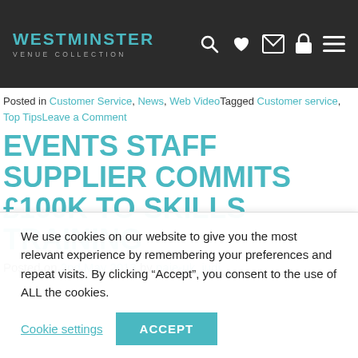WESTMINSTER VENUE COLLECTION
Posted in Customer Service, News, Web VideoTagged Customer service, Top TipsLeave a Comment
EVENTS STAFF SUPPLIER COMMITS £100K TO SKILLS TRAINING
Posted on 2nd May 2013 by paje-uk_judi
We use cookies on our website to give you the most relevant experience by remembering your preferences and repeat visits. By clicking "Accept", you consent to the use of ALL the cookies.